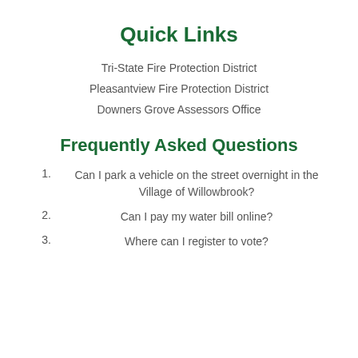Quick Links
Tri-State Fire Protection District
Pleasantview Fire Protection District
Downers Grove Assessors Office
Frequently Asked Questions
1. Can I park a vehicle on the street overnight in the Village of Willowbrook?
2. Can I pay my water bill online?
3. Where can I register to vote?